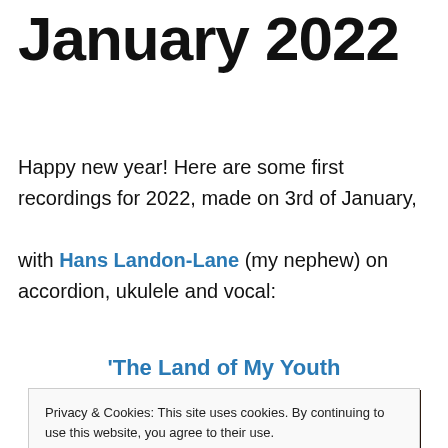January 2022
Happy new year! Here are some first recordings for 2022, made on 3rd of January,

with Hans Landon-Lane (my nephew) on accordion, ukulele and vocal:
'The Land of My Youth
Privacy & Cookies: This site uses cookies. By continuing to use this website, you agree to their use.
To find out more, including how to control cookies, see here: Cookie Policy
[Figure (photo): Photo of a person playing guitar outdoors, wearing red clothing, partially visible at bottom of page]